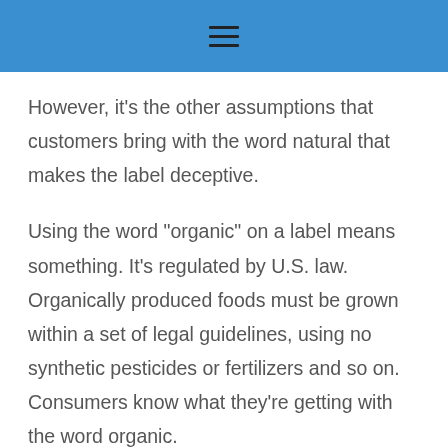However, it’s the other assumptions that customers bring with the word natural that makes the label deceptive.
Using the word “organic” on a label means something. It’s regulated by U.S. law. Organically produced foods must be grown within a set of legal guidelines, using no synthetic pesticides or fertilizers and so on. Consumers know what they’re getting with the word organic.